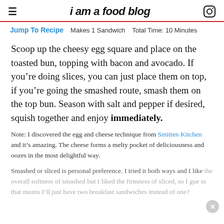i am a food blog
Jump To Recipe   Makes 1 Sandwich   Total Time: 10 Minutes
Scoop up the cheesy egg square and place on the toasted bun, topping with bacon and avocado. If you’re doing slices, you can just place them on top, if you’re going the smashed route, smash them on the top bun. Season with salt and pepper if desired, squish together and enjoy immediately.
Note: I discovered the egg and cheese technique from Smitten Kitchen and it’s amazing. The cheese forms a melty pocket of deliciousness and oozes in the most delightful way.
Smashed or sliced is personal preference. I tried it both ways and I like the overall softness of smashed but I liked the firmness of sliced, so I gue… that means I’ll just have two breakfast sandwiches instead of one?